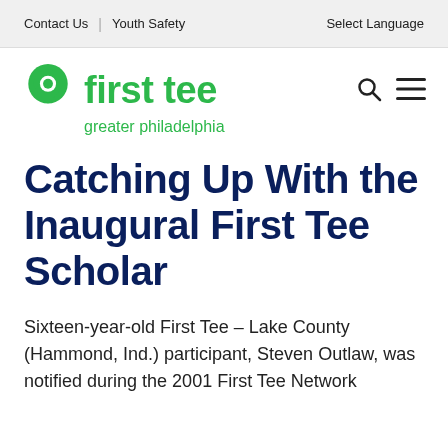Contact Us | Youth Safety   Select Language
[Figure (logo): First Tee Greater Philadelphia logo — green map pin icon followed by 'first tee' in bold green text and 'greater philadelphia' in smaller green text below]
Catching Up With the Inaugural First Tee Scholar
Sixteen-year-old First Tee – Lake County (Hammond, Ind.) participant, Steven Outlaw, was notified during the 2001 First Tee Network